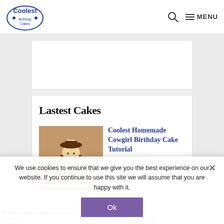Coolest Birthday Cakes — MENU
[Figure (illustration): White ad banner placeholder area below header]
Lastest Cakes
[Figure (photo): Cowgirl birthday cake with cartoon cowgirl figure saying Happy 6th Birthday]
Coolest Homemade Cowgirl Birthday Cake Tutorial
February 5, 2022
My friend asked me
6 Best Money Making Apps of 2023 That Actually Work
Annnrsa
ol DIY 21st Birthday Cake Idea
We use cookies to ensure that we give you the best experience on our website. If you continue to use this site we will assume that you are happy with it.
Ok